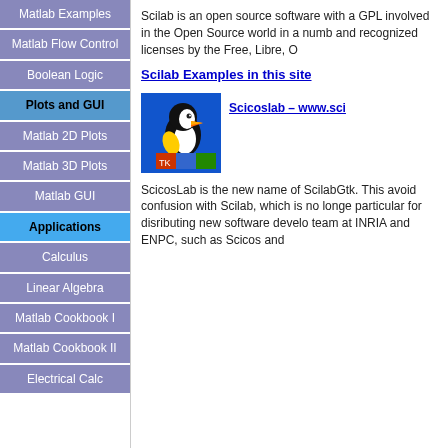Matlab Examples
Matlab Flow Control
Boolean Logic
Plots and GUI
Matlab 2D Plots
Matlab 3D Plots
Matlab GUI
Applications
Calculus
Linear Algebra
Matlab Cookbook I
Matlab Cookbook II
Electrical Calc
Scilab is an open source software with a GPL involved in the Open Source world in a number and recognized licenses by the Free, Libre, O
Scilab Examples in this site
[Figure (illustration): Puffin bird mascot for ScicosLab standing on colored blocks, on blue background]
Scicoslab – www.sci
ScicosLab is the new name of ScilabGtk. This avoid confusion with Scilab, which is no longe particular for disributing new software develo team at INRIA and ENPC, such as Scicos and